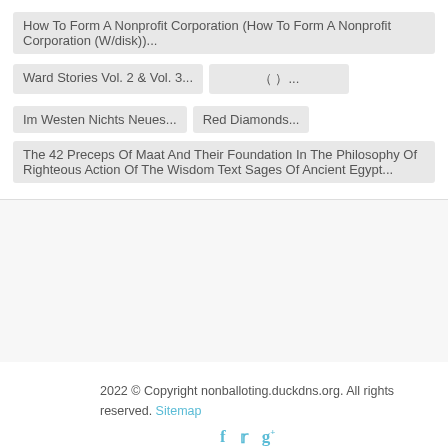How To Form A Nonprofit Corporation (How To Form A Nonprofit Corporation (W/disk))...
Ward Stories Vol. 2 & Vol. 3...
( )...
Im Westen Nichts Neues...
Red Diamonds...
The 42 Preceps Of Maat And Their Foundation In The Philosophy Of Righteous Action Of The Wisdom Text Sages Of Ancient Egypt...
2022 © Copyright nonballoting.duckdns.org. All rights reserved. Sitemap